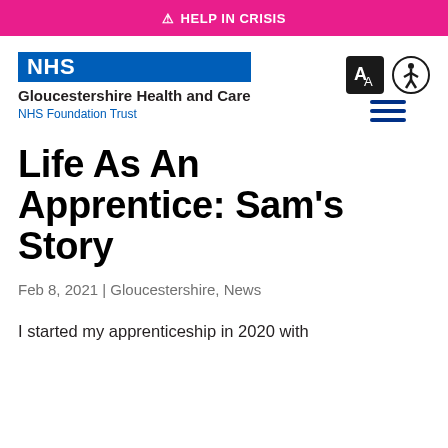⚠ HELP IN CRISIS
[Figure (logo): NHS logo (blue rectangle with white NHS text) with Gloucestershire Health and Care NHS Foundation Trust text below, plus translate and accessibility icons and hamburger menu]
Life As An Apprentice: Sam's Story
Feb 8, 2021 | Gloucestershire, News
I started my apprenticeship in 2020 with